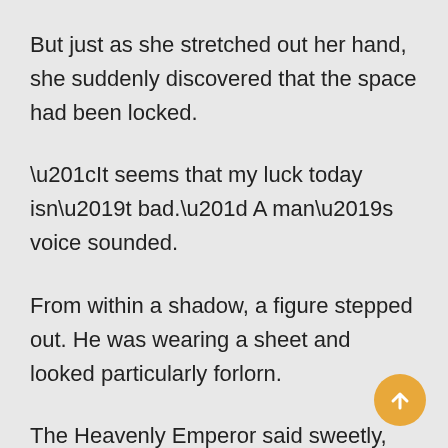But just as she stretched out her hand, she suddenly discovered that the space had been locked.
“It seems that my luck today isn’t bad.” A man’s voice sounded.
From within a shadow, a figure stepped out. He was wearing a sheet and looked particularly forlorn.
The Heavenly Emperor said sweetly, “Senior Almighty Merchant, we meet again.”
“Don’t address me like that. I really can’t take you adding in some more senior.” The Almighty Merchant...